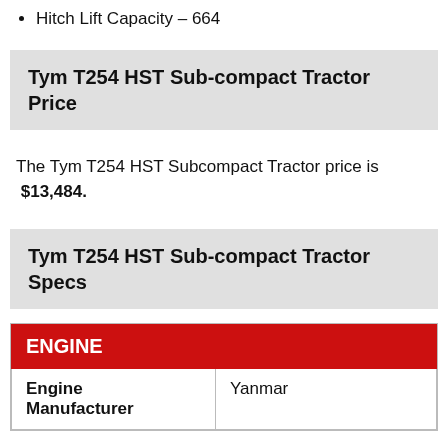Hitch Lift Capacity – 664
Tym T254 HST Sub-compact Tractor Price
The Tym T254 HST Subcompact Tractor price is $13,484.
Tym T254 HST Sub-compact Tractor Specs
| ENGINE |  |
| --- | --- |
| Engine Manufacturer | Yanmar |